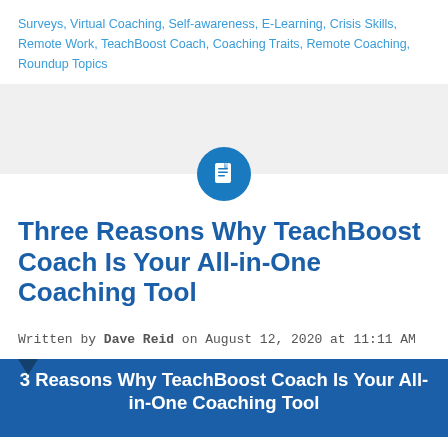Surveys, Virtual Coaching, Self-awareness, E-Learning, Crisis Skills, Remote Work, TeachBoost Coach, Coaching Traits, Remote Coaching, Roundup Topics
[Figure (illustration): Gray horizontal band with a circular blue icon containing a white document/page icon centered at the bottom edge]
Three Reasons Why TeachBoost Coach Is Your All-in-One Coaching Tool
Written by Dave Reid on August 12, 2020 at 11:11 AM
[Figure (illustration): Dark blue banner with a small triangle bookmark at top-left and bold white text reading '3 Reasons Why TeachBoost Coach Is Your All-in-One Coaching Tool']